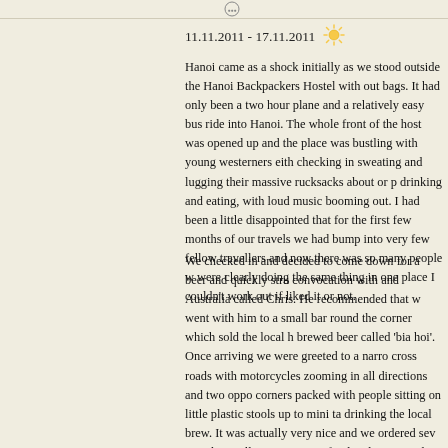11.11.2011 - 17.11.2011
Hanoi came as a shock initially as we stood outside the Hanoi Backpackers Hostel with out bags. It had only been a two hour plane and a relatively easy bus ride into Hanoi. The whole front of the host was opened up and the place was bustling with young westerners eith checking in sweating and lugging their massive rucksacks about or p drinking and eating, with loud music booming out. I had been a little disappointed that for the first few months of our travels we had bump into very few fellow travellers and now there was so many people w were clearly doing the same thing in one place I couldn't work out if liked it or not.
We checked in and decided to come down for a beer and quickly stru convocation with and Australia called Chris. He recommended that w went with him to a small bar round the corner which sold the local h brewed beer called 'bia hoi'. Once arriving we were greeted to a narro cross roads with motorcycles zooming in all directions and two oppo corners packed with people sitting on little plastic stools up to mini ta drinking the local brew. It was actually very nice and we ordered sev round as well as some street food and conversed about each others tr so far, later crossing over the road to sit with the Vietnamese after th out of beer on the primarily western side, typical westerners.